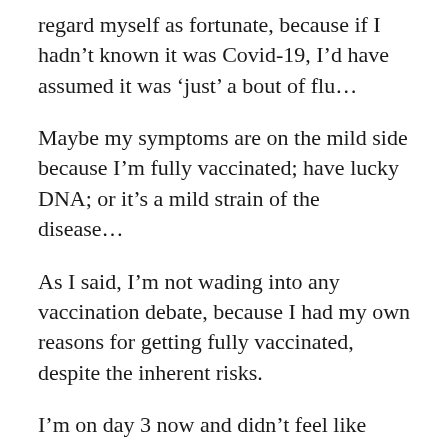regard myself as fortunate, because if I hadn't known it was Covid-19, I'd have assumed it was 'just' a bout of flu...
Maybe my symptoms are on the mild side because I'm fully vaccinated; have lucky DNA; or it's a mild strain of the disease...
As I said, I'm not wading into any vaccination debate, because I had my own reasons for getting fully vaccinated, despite the inherent risks.
I'm on day 3 now and didn't feel like sharing initially because I thought I might be judged for going 'out on the town' on Saturday...
So maybe I caught it or maybe I spread it then,